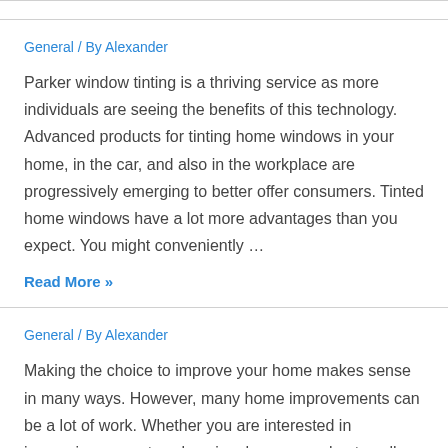General / By Alexander
Parker window tinting is a thriving service as more individuals are seeing the benefits of this technology. Advanced products for tinting home windows in your home, in the car, and also in the workplace are progressively emerging to better offer consumers. Tinted home windows have a lot more advantages than you expect. You might conveniently …
Read More »
General / By Alexander
Making the choice to improve your home makes sense in many ways. However, many home improvements can be a lot of work. Whether you are interested in increasing property values in a home you plan to sell or simply making your home your own, you